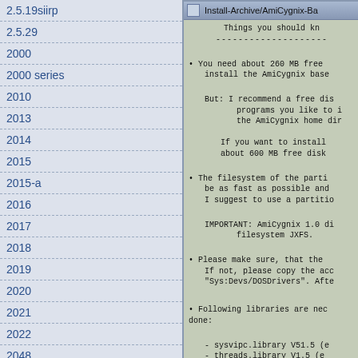2.5.19siirp
2.5.29
2000
2000 series
2010
2013
2014
2015
2015-a
2016
2017
2018
2019
2020
2021
2022
2048
256 color workbench
256 colors
[Figure (screenshot): A window titled 'Install-Archive/AmiCygnix-Ba' showing installation instructions for AmiCygnix in monospace text. Content includes disk space requirements (260 MB minimum, 600 MB recommended), filesystem notes (JXFS), library requirements (sysvipc.library V51.5, threads.library V1.5).]